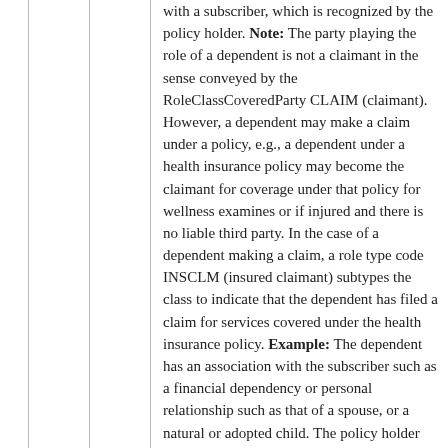with a subscriber, which is recognized by the policy holder. **Note:** The party playing the role of a dependent is not a claimant in the sense conveyed by the RoleClassCoveredParty CLAIM (claimant). However, a dependent may make a claim under a policy, e.g., a dependent under a health insurance policy may become the claimant for coverage under that policy for wellness examines or if injured and there is no liable third party. In the case of a dependent making a claim, a role type code INSCLM (insured claimant) subtypes the class to indicate that the dependent has filed a claim for services covered under the health insurance policy. **Example:** The dependent has an association with the subscriber such as a financial dependency or personal relationship such as that of a spouse, or a natural or adopted child. The policy holder may be required by law to recognize certain associations or may have discretion about the associations. For example, a policy holder may dictate the criteria for the dependent status of adult children who are students, such as requiring full time enrollment, or may recognize domestic partners as dependents. Under certain circumstances, the dependent may be under the indirect authority of a responsible party acting as a surrogate for the subscriber, for example, if the subscriber is differently abled or deceased, a guardian ad Lidem or estate